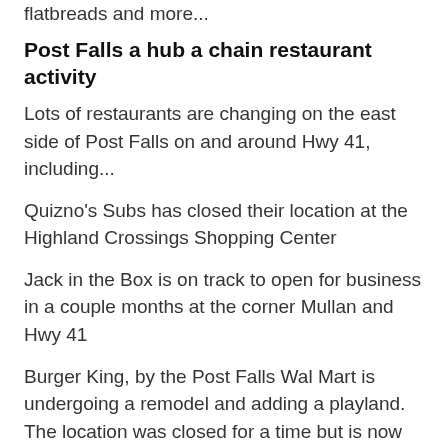flatbreads and more...
Post Falls a hub a chain restaurant activity
Lots of restaurants are changing on the east side of Post Falls on and around Hwy 41, including...
Quizno's Subs has closed their location at the Highland Crossings Shopping Center
Jack in the Box is on track to open for business in a couple months at the corner Mullan and Hwy 41
Burger King, by the Post Falls Wal Mart is undergoing a remodel and adding a playland. The location was closed for a time but is now back in business.
Starbucks is also working on a remodel of their Post Falls store on Hwy 41
A new Northtown area Burger King